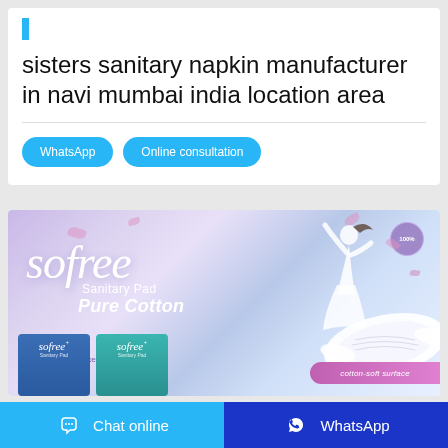sisters sanitary napkin manufacturer in navi mumbai india location area
WhatsApp  Online consultation
[Figure (illustration): Advertisement for Sofree Sanitary Pad Pure Cotton brand. Purple/lavender gradient background with woman dancing, a sanitary pad product image, product boxes at bottom, and cotton-soft label strip. Features listed: skin friendly, cotton-soft surface, soft top sheet, breathable.]
Chat online   WhatsApp